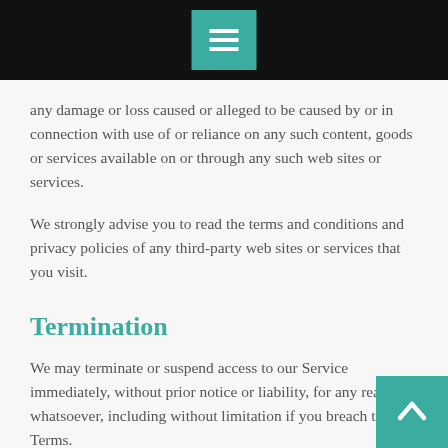[Menu icon in teal square on black header bar]
any damage or loss caused or alleged to be caused by or in connection with use of or reliance on any such content, goods or services available on or through any such web sites or services.
We strongly advise you to read the terms and conditions and privacy policies of any third-party web sites or services that you visit.
Termination
We may terminate or suspend access to our Service immediately, without prior notice or liability, for any reason whatsoever, including without limitation if you breach the Terms.
All provisions of the Terms which by their nature should survive termination shall survive termination, including, without limitation, ownership provisions, warranty disclaimers,